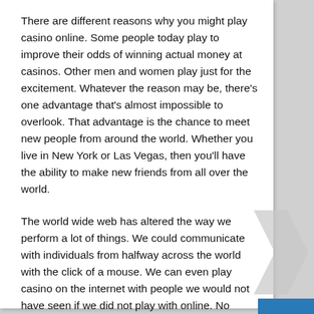There are different reasons why you might play casino online. Some people today play to improve their odds of winning actual money at casinos. Other men and women play just for the excitement. Whatever the reason may be, there’s one advantage that’s almost impossible to overlook. That advantage is the chance to meet new people from around the world. Whether you live in New York or Las Vegas, then you’ll have the ability to make new friends from all over the world.
The world wide web has altered the way we perform a lot of things. We could communicate with individuals from halfway across the world with the click of a mouse. We can even play casino on the internet with people we would not have seen if we did not play with online. No matter what your motives for playing, you’ll have the ability to derive a whole lot of pleasure from it. Why not you?